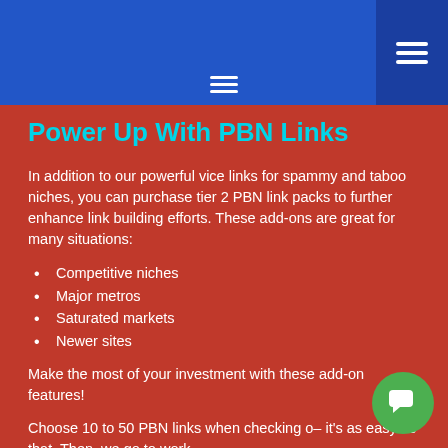Navigation menu header with hamburger icons
Power Up With PBN Links
In addition to our powerful vice links for spammy and taboo niches, you can purchase tier 2 PBN link packs to further enhance link building efforts. These add-ons are great for many situations:
Competitive niches
Major metros
Saturated markets
Newer sites
Make the most of your investment with these add-on features!
Choose 10 to 50 PBN links when checking o– it's as easy as that. Then, we go to work